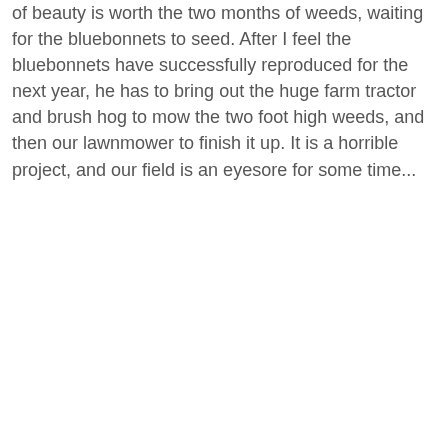of beauty is worth the two months of weeds, waiting for the bluebonnets to seed. After I feel the bluebonnets have successfully reproduced for the next year, he has to bring out the huge farm tractor and brush hog to mow the two foot high weeds, and then our lawnmower to finish it up. It is a horrible project, and our field is an eyesore for some time...